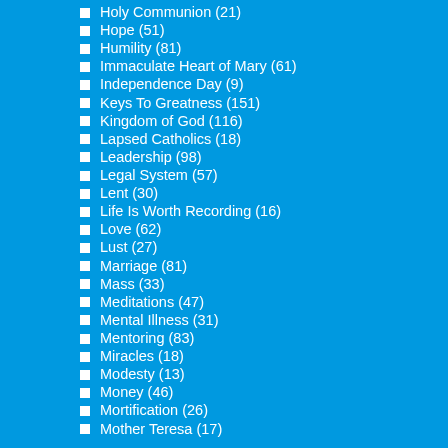Holy Communion (21)
Hope (51)
Humility (81)
Immaculate Heart of Mary (61)
Independence Day (9)
Keys To Greatness (151)
Kingdom of God (116)
Lapsed Catholics (18)
Leadership (98)
Legal System (57)
Lent (30)
Life Is Worth Recording (16)
Love (62)
Lust (27)
Marriage (81)
Mass (33)
Meditations (47)
Mental Illness (31)
Mentoring (83)
Miracles (18)
Modesty (13)
Money (46)
Mortification (26)
Mother Teresa (17)